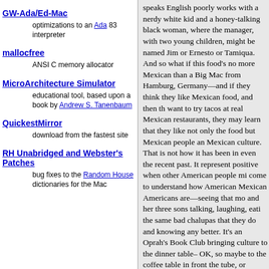GW-Ada/Ed-Mac
optimizations to an Ada 83 interpreter
mallocfree
ANSI C memory allocator
MicroArchitecture Simulator
educational tool, based upon a book by Andrew S. Tanenbaum
QuickestMirror
download from the fastest site
RH Unabridged and Webster's Patches
bug fixes to the Random House dictionaries for the Mac
speaks English poorly works with a nerdy white kid and a honey-talking black woman, where the manager, with two young children, might be named Jim or Ernesto or Tamiqua. And so what if this food's no more Mexican than a Big Mac from Hamburg, Germany—and if they think they like Mexican food, and then they want to try tacos at real Mexican restaurants, they may learn that they like not only the food but Mexican people and Mexican culture. That is not how it has been in even the recent past. It represents positive when other American people might come to understand how American Mexican Americans are—seeing that mom and her three sons talking, laughing, eating the same bad chalupas that they do and not knowing any better. It's an Oprah's Book Club bringing culture to the dinner table—OK, so maybe to the coffee table in front of the tube, or maybe through the driver's window and spilled onto the car seat.
Taco Bell's seasoned ground meat isn't picadillo because it isn't Mexican. The taco and its filling are American now. Like spaghetti that really isn't very Italian, like